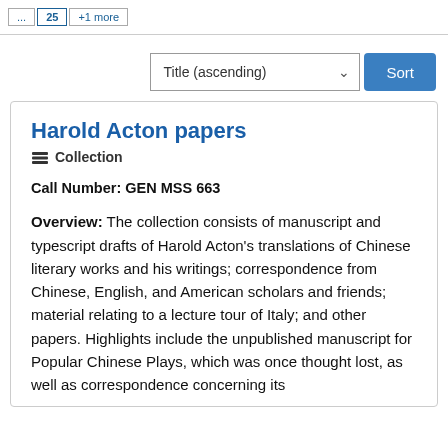Title (ascending) Sort
Harold Acton papers
Collection
Call Number: GEN MSS 663
Overview: The collection consists of manuscript and typescript drafts of Harold Acton's translations of Chinese literary works and his writings; correspondence from Chinese, English, and American scholars and friends; material relating to a lecture tour of Italy; and other papers. Highlights include the unpublished manuscript for Popular Chinese Plays, which was once thought lost, as well as correspondence concerning its